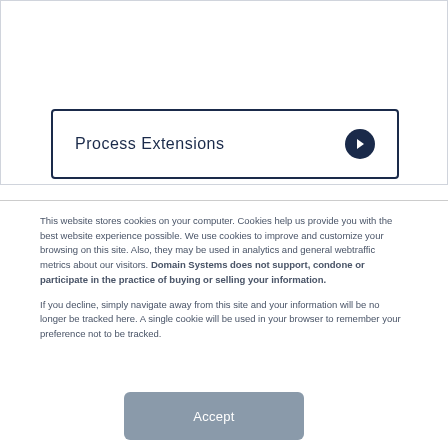[Figure (screenshot): A button with dark navy border labeled 'Process Extensions' with a right-arrow circle icon on the right side]
This website stores cookies on your computer. Cookies help us provide you with the best website experience possible. We use cookies to improve and customize your browsing on this site. Also, they may be used in analytics and general webtraffic metrics about our visitors. Domain Systems does not support, condone or participate in the practice of buying or selling your information.

If you decline, simply navigate away from this site and your information will be no longer be tracked here. A single cookie will be used in your browser to remember your preference not to be tracked.
Accept